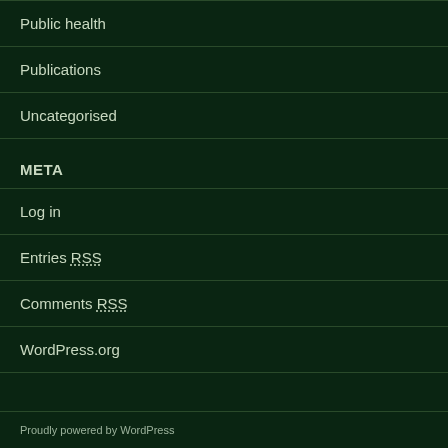Public health
Publications
Uncategorised
META
Log in
Entries RSS
Comments RSS
WordPress.org
Proudly powered by WordPress